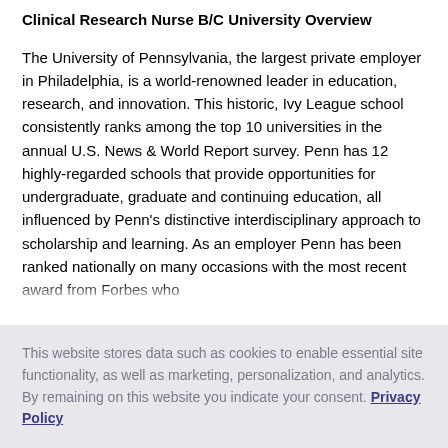Clinical Research Nurse B/C
University Overview
The University of Pennsylvania, the largest private employer in Philadelphia, is a world-renowned leader in education, research, and innovation. This historic, Ivy League school consistently ranks among the top 10 universities in the annual U.S. News & World Report survey. Penn has 12 highly-regarded schools that provide opportunities for undergraduate, graduate and continuing education, all influenced by Penn's distinctive interdisciplinary approach to scholarship and learning. As an employer Penn has been ranked nationally on many occasions with the most recent award from Forbes who
This website stores data such as cookies to enable essential site functionality, as well as marketing, personalization, and analytics. By remaining on this website you indicate your consent. Privacy Policy